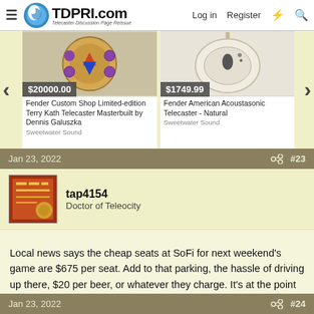TDPRI.com — Telecaster Discussion Page Reissue | Log in | Register
[Figure (screenshot): Product card: Fender Custom Shop Limited-edition Terry Kath Telecaster Masterbuilt by Dennis Galuszka, $20000.00, Sweetwater Sound]
[Figure (screenshot): Product card: Fender American Acoustasonic Telecaster - Natural, $1749.99, Sweetwater Sound]
Jan 23, 2022  #23
tap4154
Doctor of Teleocity
Local news says the cheap seats at SoFi for next weekend's game are $675 per seat. Add to that parking, the hassle of driving up there, $20 per beer, or whatever they charge. It's at the point where the only people that go are those that get free tickets through their corporate ties.
Jan 23, 2022  #24